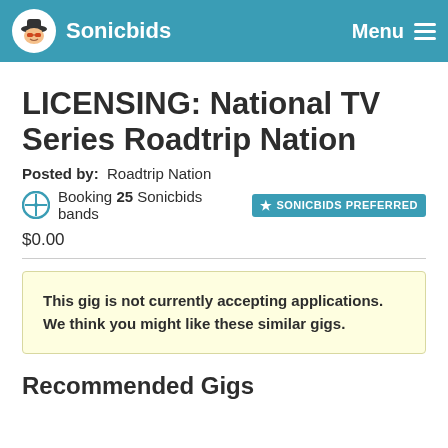Sonicbids  Menu
LICENSING: National TV Series Roadtrip Nation
Posted by:  Roadtrip Nation
Booking 25 Sonicbids bands  SONICBIDS PREFERRED
$0.00
This gig is not currently accepting applications. We think you might like these similar gigs.
Recommended Gigs